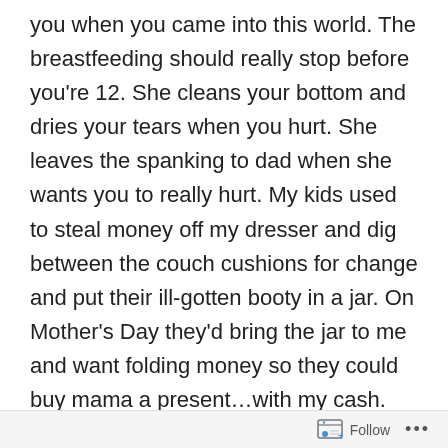you when you came into this world. The breastfeeding should really stop before you're 12. She cleans your bottom and dries your tears when you hurt. She leaves the spanking to dad when she wants you to really hurt. My kids used to steal money off my dresser and dig between the couch cushions for change and put their ill-gotten booty in a jar. On Mother's Day they'd bring the jar to me and want folding money so they could buy mama a present…with my cash. Father's Day? Meh…who cares. All he did was sacrifice his health to provide for you. At least, back when there WERE fathers and not (oh, this phrase is so obscene I don't ever use it) baby daddy. That's when two sets of hormones meet in a bar, two hours later they're having sex. The guy puts a notch in his bedpost and moves on to his next conquest. The woman
Follow ···